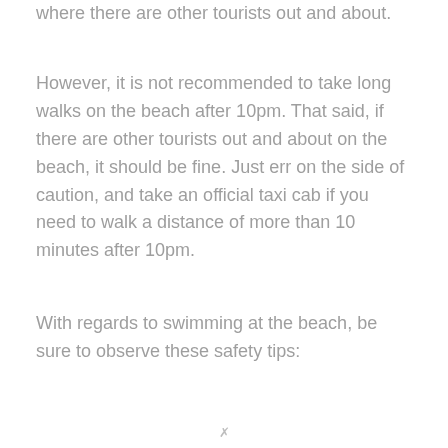where there are other tourists out and about.
However, it is not recommended to take long walks on the beach after 10pm. That said, if there are other tourists out and about on the beach, it should be fine. Just err on the side of caution, and take an official taxi cab if you need to walk a distance of more than 10 minutes after 10pm.
With regards to swimming at the beach, be sure to observe these safety tips: